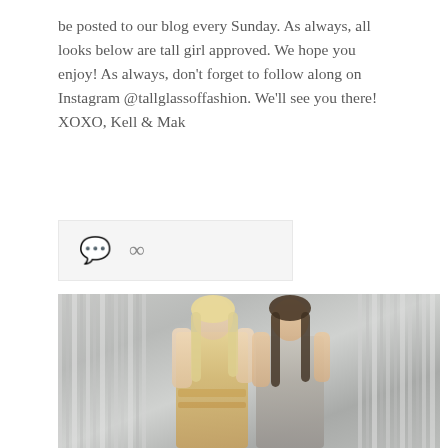be posted to our blog every Sunday. As always, all looks below are tall girl approved. We hope you enjoy! As always, don't forget to follow along on Instagram @tallglassoffashion. We'll see you there! XOXO, Kell & Mak
[Figure (other): Social media icon bar with comment bubble icon and share/link icon on a light grey background]
[Figure (photo): Two tall young women posing together in front of a silver/metallic tinsel curtain backdrop. The woman on the left has long blonde hair and wears a gold sequined/fringe dress. The woman on the right has long dark brown hair and wears a grey/silver fitted dress. Both are smiling.]